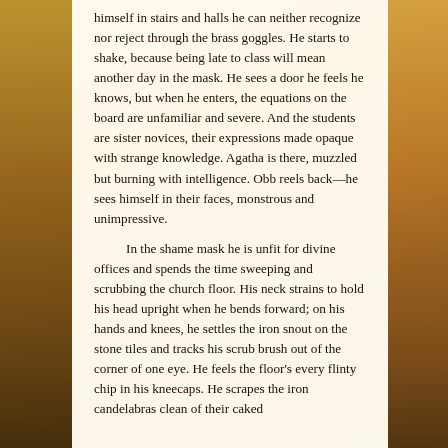himself in stairs and halls he can neither recognize nor reject through the brass goggles. He starts to shake, because being late to class will mean another day in the mask. He sees a door he feels he knows, but when he enters, the equations on the board are unfamiliar and severe. And the students are sister novices, their expressions made opaque with strange knowledge. Agatha is there, muzzled but burning with intelligence. Obb reels back—he sees himself in their faces, monstrous and unimpressive.

In the shame mask he is unfit for divine offices and spends the time sweeping and scrubbing the church floor. His neck strains to hold his head upright when he bends forward; on his hands and knees, he settles the iron snout on the stone tiles and tracks his scrub brush out of the corner of one eye. He feels the floor's every flinty chip in his kneecaps. He scrapes the iron candelabras clean of their caked